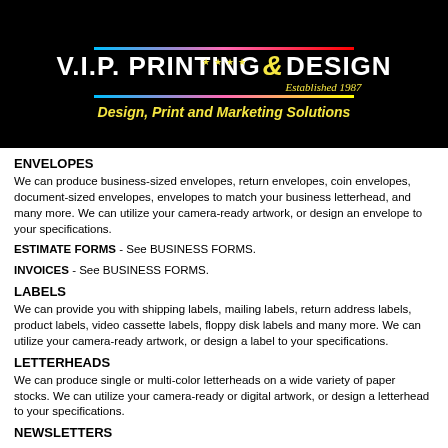[Figure (logo): V.I.P. Printing & Design logo on black background with yellow stars, color gradient bar, and tagline 'Design, Print and Marketing Solutions'. Established 1987.]
ENVELOPES
We can produce business-sized envelopes, return envelopes, coin envelopes, document-sized envelopes, envelopes to match your business letterhead, and many more. We can utilize your camera-ready artwork, or design an envelope to your specifications.
ESTIMATE FORMS - See BUSINESS FORMS.
INVOICES - See BUSINESS FORMS.
LABELS
We can provide you with shipping labels, mailing labels, return address labels, product labels, video cassette labels, floppy disk labels and many more. We can utilize your camera-ready artwork, or design a label to your specifications.
LETTERHEADS
We can produce single or multi-color letterheads on a wide variety of paper stocks. We can utilize your camera-ready or digital artwork, or design a letterhead to your specifications.
NEWSLETTERS